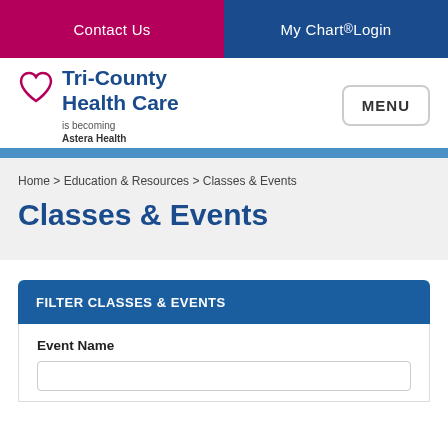Contact Us | My Chart ® Login
[Figure (logo): Tri-County Health Care logo with heart icon, and tagline 'is becoming Astera Health']
MENU
Home > Education & Resources > Classes & Events
Classes & Events
FILTER CLASSES & EVENTS
Event Name